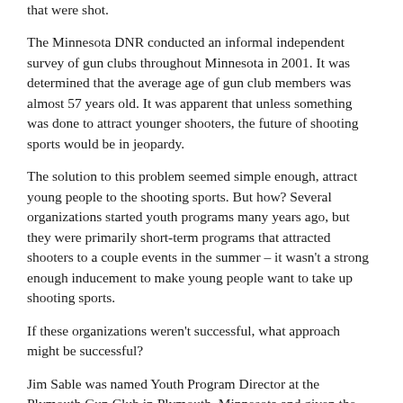that were shot.
The Minnesota DNR conducted an informal independent survey of gun clubs throughout Minnesota in 2001. It was determined that the average age of gun club members was almost 57 years old. It was apparent that unless something was done to attract younger shooters, the future of shooting sports would be in jeopardy.
The solution to this problem seemed simple enough, attract young people to the shooting sports. But how? Several organizations started youth programs many years ago, but they were primarily short-term programs that attracted shooters to a couple events in the summer – it wasn't a strong enough inducement to make young people want to take up shooting sports.
If these organizations weren't successful, what approach might be successful?
Jim Sable was named Youth Program Director at the Plymouth Gun Club in Plymouth, Minnesota and given the responsibility of attracting young people to the club and to the shooting sports. When the president of the Plymouth Gun Club asked Jim